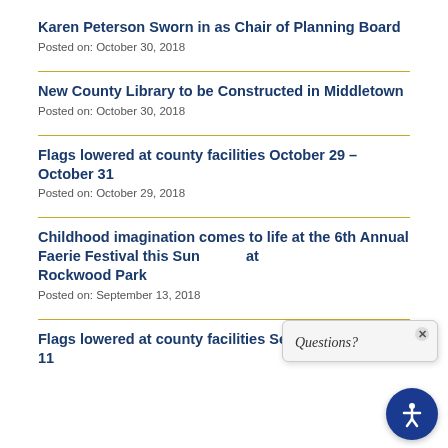Karen Peterson Sworn in as Chair of Planning Board
Posted on: October 30, 2018
New County Library to be Constructed in Middletown
Posted on: October 30, 2018
Flags lowered at county facilities October 29 – October 31
Posted on: October 29, 2018
Childhood imagination comes to life at the 6th Annual Faerie Festival this Sunday at Rockwood Park
Posted on: September 13, 2018
Flags lowered at county facilities September 11